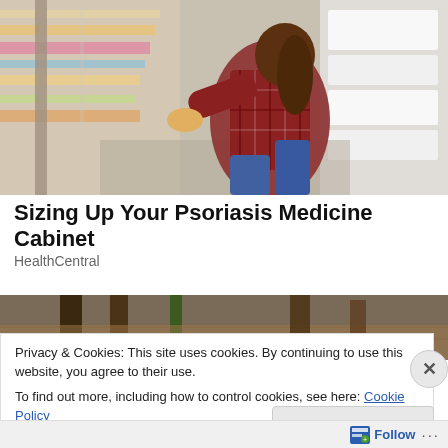[Figure (photo): Woman in a red plaid shirt crouching in a pharmacy/grocery store aisle, reading the label of a product. Store shelves with various products visible on both sides.]
Sizing Up Your Psoriasis Medicine Cabinet
HealthCentral
[Figure (photo): Partial photo showing table legs and a plant stem on a wooden surface, partially obscured by cookie banner overlay.]
Privacy & Cookies: This site uses cookies. By continuing to use this website, you agree to their use.
To find out more, including how to control cookies, see here: Cookie Policy
Follow ...